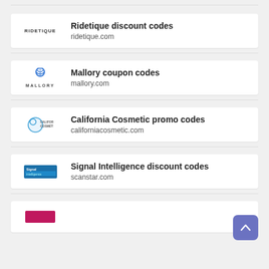Ridetique discount codes
ridetique.com
Mallory coupon codes
mallory.com
California Cosmetic promo codes
californiacosmetic.com
Signal Intelligence discount codes
scanstar.com